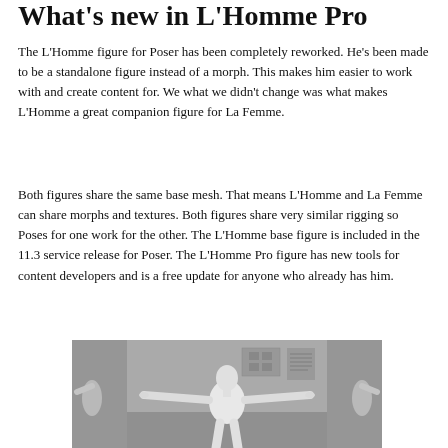What's new in L'Homme Pro
The L'Homme figure for Poser has been completely reworked. He's been made to be a standalone figure instead of a morph. This makes him easier to work with and create content for. We what we didn't change was what makes L'Homme a great companion figure for La Femme.
Both figures share the same base mesh. That means L'Homme and La Femme can share morphs and textures. Both figures share very similar rigging so Poses for one work for the other. The L'Homme base figure is included in the 11.3 service release for Poser. The L'Homme Pro figure has new tools for content developers and is a free update for anyone who already has him.
[Figure (photo): Black and white 3D render of L'Homme figure in T-pose, showing a white mannequin-like male figure with arms outstretched, view from front, set against a grey background room environment.]